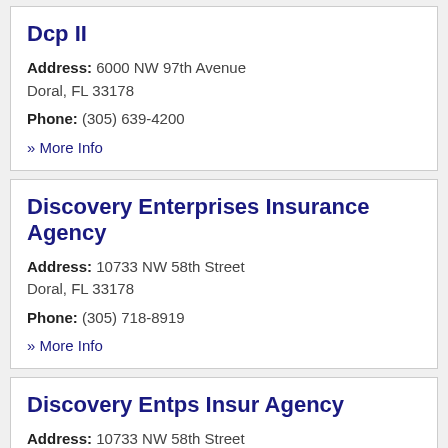Dcp II
Address: 6000 NW 97th Avenue
Doral, FL 33178
Phone: (305) 639-4200
» More Info
Discovery Enterprises Insurance Agency
Address: 10733 NW 58th Street
Doral, FL 33178
Phone: (305) 718-8919
» More Info
Discovery Entps Insur Agency
Address: 10733 NW 58th Street
Doral, FL 33178